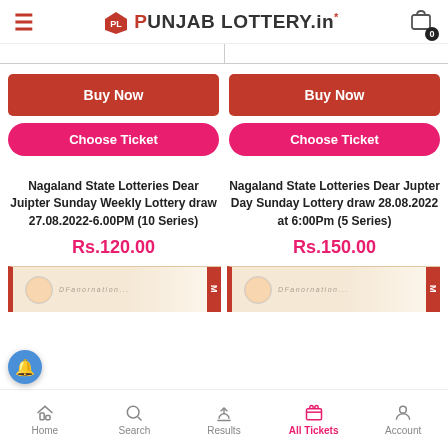Punjab Lottery.in
Buy Now | Choose Ticket (left card)
Buy Now | Choose Ticket (right card)
Nagaland State Lotteries Dear Juipter Sunday Weekly Lottery draw 27.08.2022-6.00PM (10 Series)
Rs.120.00
Nagaland State Lotteries Dear Jupter Day Sunday Lottery draw 28.08.2022 at 6:00Pm (5 Series)
Rs.150.00
Home | Search | Results | All Tickets | Account